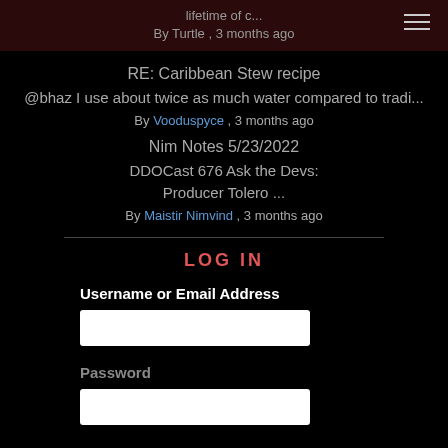lifetime of c...
By Turtle , 3 months ago
RE: Caribbean Stew recipe
@bhaz I use about twice as much water compared to tradi...
By Vooduspyce , 3 months ago
Nim Notes 5/23/2022
DDOCast 676 Ask the Devs: Producer Tolero ...
By Maistir Nimvind , 3 months ago
LOG IN
Username or Email Address
Password